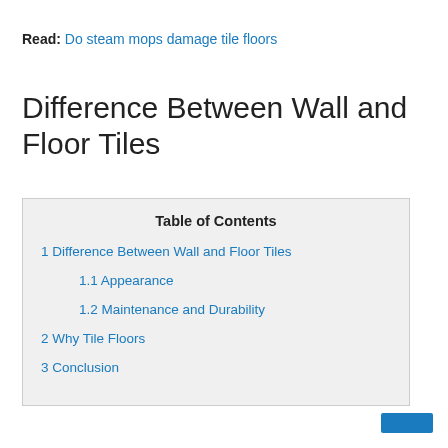Read: Do steam mops damage tile floors
Difference Between Wall and Floor Tiles
| Table of Contents |
| --- |
| 1 Difference Between Wall and Floor Tiles |
| 1.1 Appearance |
| 1.2 Maintenance and Durability |
| 2 Why Tile Floors |
| 3 Conclusion |